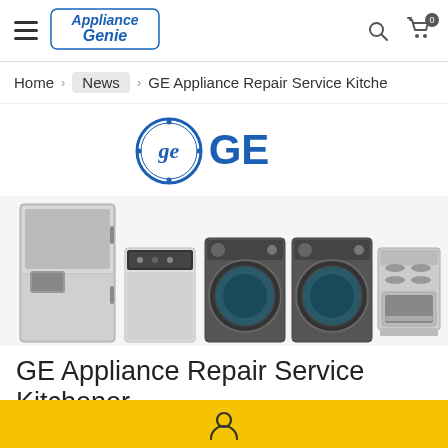Appliance Genie — Navigation header with hamburger menu, logo, search and cart icons
Home > News > GE Appliance Repair Service Kitche
[Figure (logo): GE brand logo — circular GE monogram and 'GE' text in blue]
[Figure (photo): GE appliances lineup: stainless steel French door refrigerator, white dishwasher, two dark front-load washers/dryers, and stainless range with glass cooktop]
GE Appliance Repair Service Kitchener
User icon on yellow footer bar